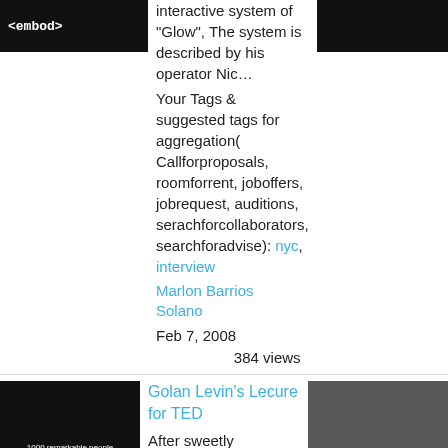[Figure (screenshot): Dark thumbnail image with '<embod>' text in white monospace font]
interactive system of "Glow", The system is described by his operator Nic…
Your Tags & suggested tags for aggregation( Callforproposals, roomforrent, joboffers, jobrequest, auditions, serachforcollaborators, searchforadvise): nyc, interview
[Figure (screenshot): Dark/black thumbnail image (second video)]
Marlon Barrios Solano
Feb 7, 2008
384 views
Golan Levin's Lecure for TED
After sweetly confessing that he never meant to be a performance artist, Golan Levin explains that…
Your Tags & suggested tags for aggregation( Callforproposals, roomforrent, joboff
[Figure (screenshot): Black video thumbnail with text: '1000 remarkable people gather in Monterey, California']
[Figure (screenshot): Interior room photo with 'C C L' letters visible on wall]
Sign in to chat!